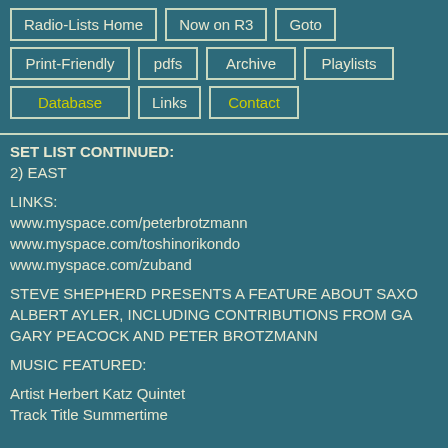Radio-Lists Home | Now on R3 | Goto | Print-Friendly | pdfs | Archive | Playlists | Database | Links | Contact
SET LIST CONTINUED:
2) EAST
LINKS:
www.myspace.com/peterbrotzmann
www.myspace.com/toshinorikondo
www.myspace.com/zuband
STEVE SHEPHERD PRESENTS A FEATURE ABOUT SAXO ALBERT AYLER, INCLUDING CONTRIBUTIONS FROM GA GARY PEACOCK AND PETER BROTZMANN
MUSIC FEATURED:
Artist Herbert Katz Quintet
Track Title Summertime